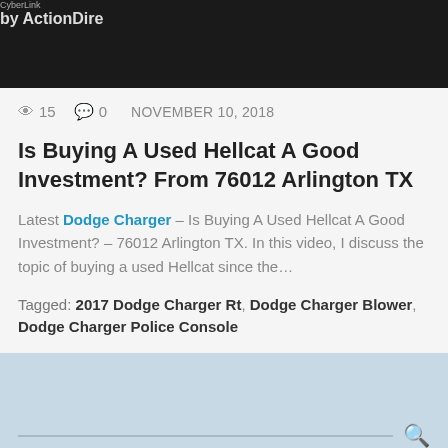[Figure (screenshot): Dark banner image with CyberLink ActionDirector watermark in the top-right corner]
👁 15   💬 0   NOVEMBER 10, 2018
Is Buying A Used Hellcat A Good Investment? From 76012 Arlington TX
Latest Dodge Charger – Is Buying A Used Hellcat A Good Investment? – 76012 Arlington TX. In this video, I discuss the topic of buying a used Hellcat since the…
Tagged: 2017 Dodge Charger Rt, Dodge Charger Blower, Dodge Charger Police Console
[Figure (screenshot): Light blue sidebar area with a search bar (horizontal line and magnifying glass icon)]
[Figure (photo): Partial bottom image with tan/brown tones, partially cropped]